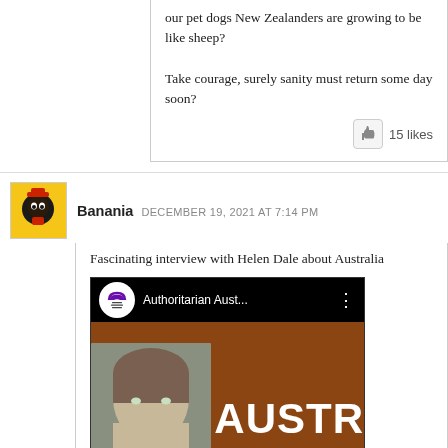our pet dogs New Zealanders are growing to be like sheep?

Take courage, surely sanity must return some day soon?
15 likes
Banania  DECEMBER 19, 2021 AT 7:14 PM
Fascinating interview with Helen Dale about Australia
[Figure (screenshot): YouTube video thumbnail showing 'Authoritarian Aust...' with The New Culture Forum logo, and a woman's face with overlay text 'AUSTR EXTR REAC' on a brown/rust background.]